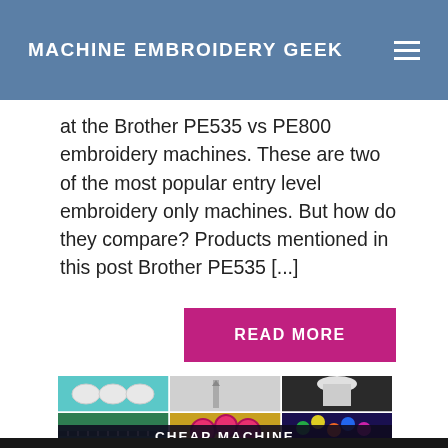MACHINE EMBROIDERY GEEK
at the Brother PE535 vs PE800 embroidery machines. These are two of the most popular entry level embroidery only machines. But how do they compare? Products mentioned in this post Brother PE535 [...]
READ MORE
[Figure (photo): Collage of embroidery supplies: bobbins, scissors, thread spools, ruler, colorful buttons and accessories. Bottom overlay reads CHEAP MACHINE EMBROIDERY SUPPLIES.]